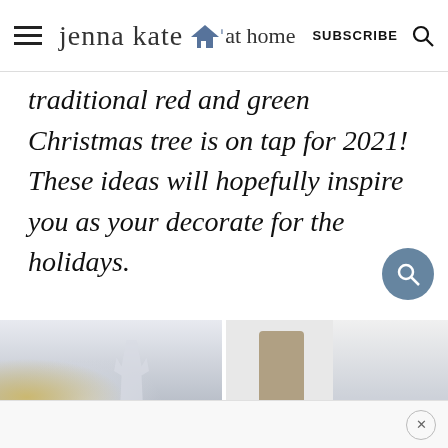jenna kate at home — SUBSCRIBE
traditional red and green Christmas tree is on tap for 2021! These ideas will hopefully inspire you as your decorate for the holidays.
[Figure (photo): Two holiday decoration photos side by side: left photo shows a white reindeer figurine against a grey/blue background with gold ornaments; right photo shows a nutcracker figurine against a light grey background.]
Ad close button